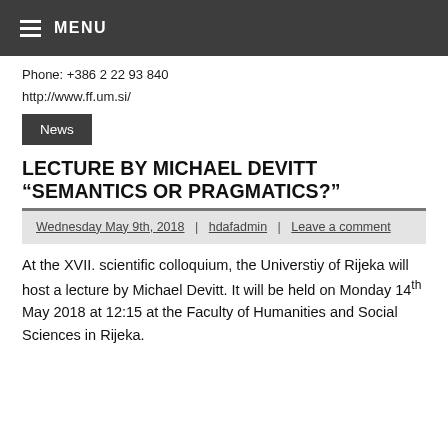MENU
Phone: +386 2 22 93 840
http://www.ff.um.si/
News
LECTURE BY MICHAEL DEVITT “SEMANTICS OR PRAGMATICS?”
Wednesday May 9th, 2018 | hdafadmin | Leave a comment
At the XVII. scientific colloquium, the Universtiy of Rijeka will host a lecture by Michael Devitt. It will be held on Monday 14th May 2018 at 12:15 at the Faculty of Humanities and Social Sciences in Rijeka.